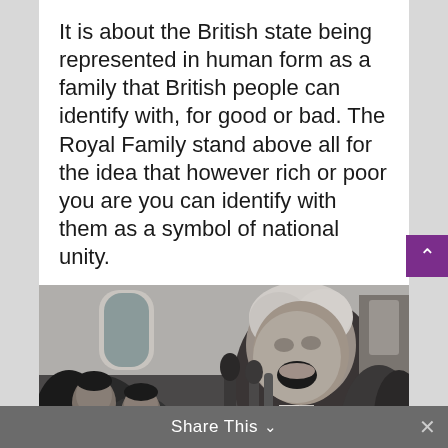It is about the British state being represented in human form as a family that British people can identify with, for good or bad. The Royal Family stand above all for the idea that however rich or poor you are you can identify with them as a symbol of national unity.
[Figure (photo): Black and white photograph of an older man with white hair speaking into microphones, surrounded by a crowd of people, appearing to be a press conference or public address. Getty Images watermark visible.]